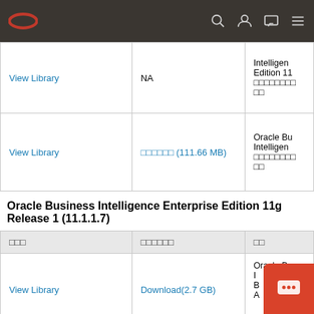Oracle navigation bar with logo and icons
| ドキュメント | ダウンロード | 説明 |
| --- | --- | --- |
| View Library | NA | Intelligen Edition 11 ドキュメント |
| View Library | ダウンロード (111.66 MB) | Oracle Business Intelligence ドキュメント |
Oracle Business Intelligence Enterprise Edition 11g Release 1 (11.1.1.7)
| ドキュメント | ダウンロード | 説明 |
| --- | --- | --- |
| View Library | Download(2.7 GB) | Oracle Bu... |